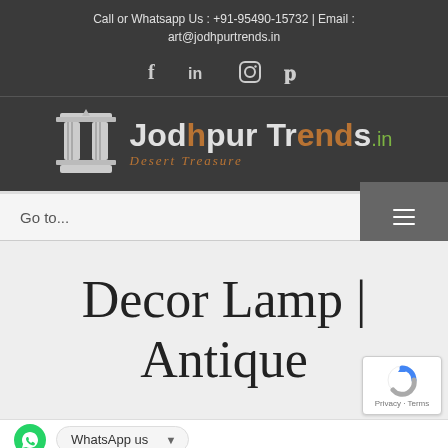Call or Whatsapp Us : +91-95490-15732  |  Email : art@jodhpurtrends.in
[Figure (logo): Social media icons: Facebook (f), LinkedIn (in), Instagram (circle icon), Pinterest (p)]
[Figure (logo): Jodhpur Trends.in logo with pillar icon and text 'Desert Treasure']
Go to...
Decor Lamp | Antique
WhatsApp us